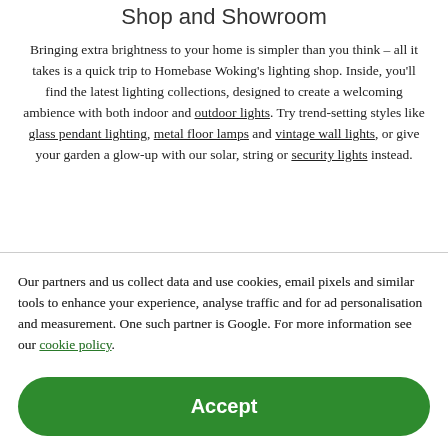Shop and Showroom
Bringing extra brightness to your home is simpler than you think – all it takes is a quick trip to Homebase Woking's lighting shop. Inside, you'll find the latest lighting collections, designed to create a welcoming ambience with both indoor and outdoor lights. Try trend-setting styles like glass pendant lighting, metal floor lamps and vintage wall lights, or give your garden a glow-up with our solar, string or security lights instead.
Our partners and us collect data and use cookies, email pixels and similar tools to enhance your experience, analyse traffic and for ad personalisation and measurement. One such partner is Google. For more information see our cookie policy.